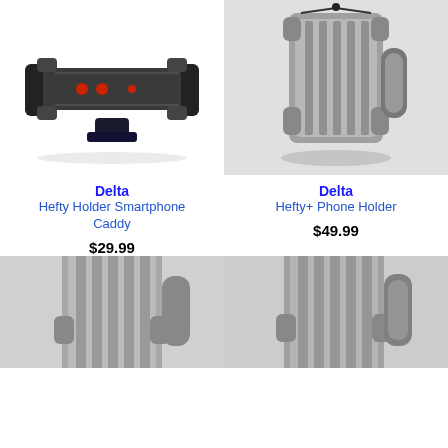[Figure (photo): Delta Hefty Holder Smartphone Caddy - dark gray horizontal phone mount with red accent buttons]
Delta
Hefty Holder Smartphone Caddy
$29.99
[Figure (photo): Delta Hefty+ Phone Holder - gray vertical phone mount on gray background]
Delta
Hefty+ Phone Holder
$49.99
[Figure (photo): Phone holder product - gray vertical mount, partial bottom view]
[Figure (photo): Phone holder product - gray vertical mount, partial bottom view right side]